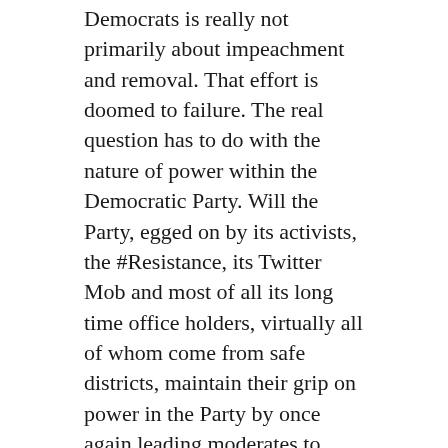Democrats is really not primarily about impeachment and removal. That effort is doomed to failure. The real question has to do with the nature of power within the Democratic Party. Will the Party, egged on by its activists, the #Resistance, its Twitter Mob and most of all its long time office holders, virtually all of whom come from safe districts, maintain their grip on power in the Party by once again leading moderates to electoral slaughter?
They certainly seem intent on doing so.
JFB
December 21, 2019 / Politics / Impeachment, moderates, Pelosi, Senate, Speaker, Trial, Trump, Twitter